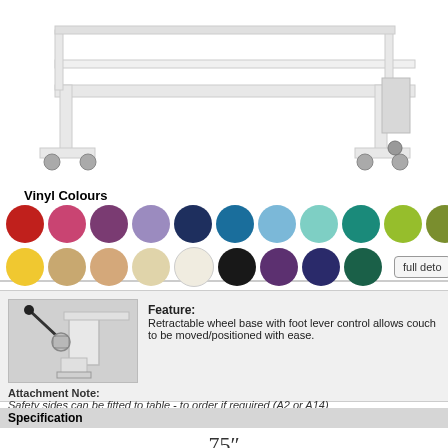[Figure (photo): White medical/examination couch frame with retractable wheel base, shown from an angle, on white background]
Vinyl Colours
[Figure (illustration): Grid of vinyl colour swatch circles: red, pink, purple, lavender, navy, teal-blue, sky blue, mint, teal, lime green, olive green, grey, light grey, orange (row 1); yellow, tan, beige, cream, off-white, black, dark purple, dark navy, dark teal (row 2); with 'full deto' button]
[Figure (photo): Close-up photo of retractable wheel base mechanism with foot lever control on couch leg]
Feature: Retractable wheel base with foot lever control allows couch to be moved/positioned with ease.
Attachment Note: Safety sides can be fitted to table - to order if required (A2 or A14)
Specification
75"